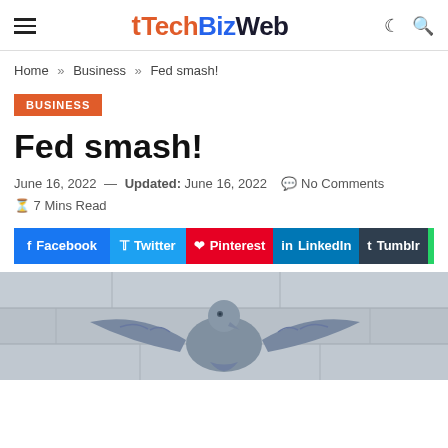TechBizWeb
Home » Business » Fed smash!
BUSINESS
Fed smash!
June 16, 2022 — Updated: June 16, 2022  No Comments  7 Mins Read
Facebook  Twitter  Pinterest  LinkedIn  Tumblr  WhatsApp
[Figure (photo): Black and white photo of a stone eagle sculpture with wings spread, in front of a marble wall background]